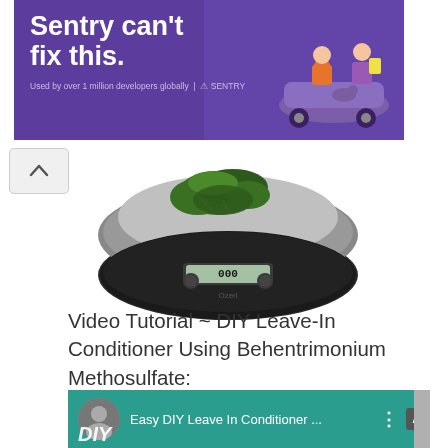[Figure (screenshot): Sentry advertisement banner with purple background. Large white bold text reads 'Sentry can't fix this.' with illustrated characters on the right side and small text 'Used by over 1 million developers globally | SENTRY' at the bottom.]
[Figure (photo): A digital kitchen scale (Ozeri brand) with a circular chrome/black body showing a digital display reading '0.0g', with green leafy herb (parsley or similar) placed on the silver weighing platform on top.]
Video Tutorial ~ DIY Leave-In Conditioner Using Behentrimonium Methosulfate:
[Figure (screenshot): Video thumbnail for 'Easy DIY Leave In Conditioner ...' showing a person's profile photo on the left, title text in white, a three-dot menu icon, a scroll-up arrow, and a teal/green background with video content showing 'DIY' text and related imagery.]